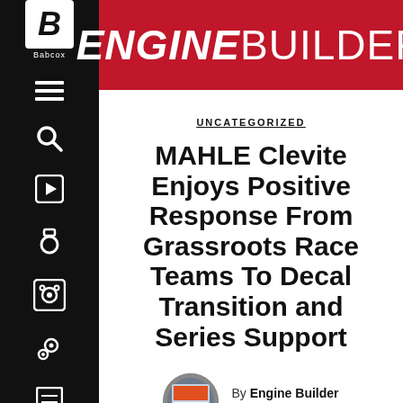ENGINE BUILDER
UNCATEGORIZED
MAHLE Clevite Enjoys Positive Response From Grassroots Race Teams To Decal Transition and Series Support
By Engine Builder on May 19, 2008